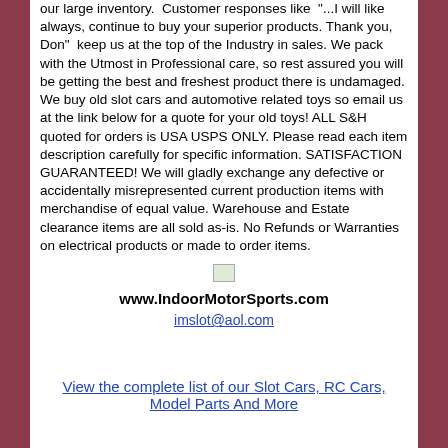our large inventory.  Customer responses like  "...I will like always, continue to buy your superior products. Thank you, Don"  keep us at the top of the Industry in sales. We pack with the Utmost in Professional care, so rest assured you will be getting the best and freshest product there is undamaged. We buy old slot cars and automotive related toys so email us at the link below for a quote for your old toys! ALL S&H quoted for orders is USA USPS ONLY. Please read each item description carefully for specific information. SATISFACTION GUARANTEED! We will gladly exchange any defective or accidentally misrepresented current production items with merchandise of equal value. Warehouse and Estate clearance items are all sold as-is. No Refunds or Warranties on electrical products or made to order items.
[Figure (logo): Small logo image placeholder]
www.IndoorMotorSports.com
imslot@aol.com
View the complete list of our Slot Cars, RC Cars, Model Parts And More